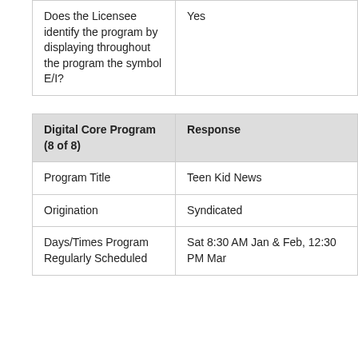|  |  |
| --- | --- |
| Does the Licensee identify the program by displaying throughout the program the symbol E/I? | Yes |
| Digital Core Program (8 of 8) | Response |
| --- | --- |
| Program Title | Teen Kid News |
| Origination | Syndicated |
| Days/Times Program Regularly Scheduled | Sat 8:30 AM Jan & Feb, 12:30 PM Mar |